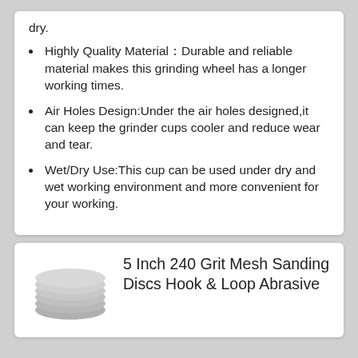dry.
Highly Quality MaterialÿDurable and reliable material makes this grinding wheel has a longer working times.
Air Holes Design:Under the air holes designed,it can keep the grinder cups cooler and reduce wear and tear.
Wet/Dry Use:This cup can be used under dry and wet working environment and more convenient for your working.
5 Inch 240 Grit Mesh Sanding Discs Hook & Loop Abrasive